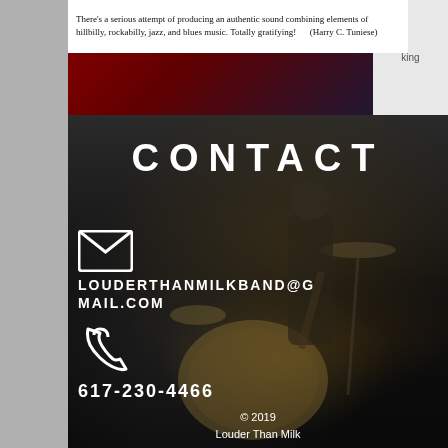There's a serious attempt of producing an authentic sound combining elements of hillbilly, rockabilly, jazz, and blues music. Totally gratifying! (Harry C. Tuniese)
[Figure (photo): Concert stage with red and blue lighting, band performing in dark venue]
CONTACT
LOUDERTHANMILKBAND@GMAIL.COM
617-230-4466
© 2019
Louder Than Milk